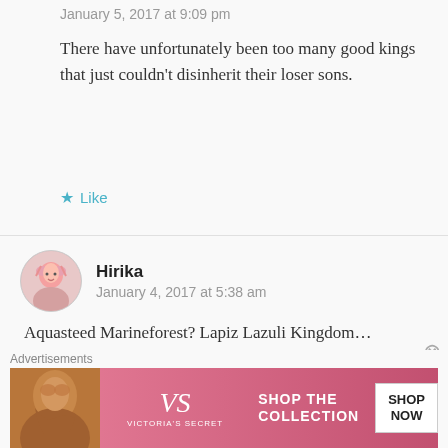January 5, 2017 at 9:09 pm
There have unfortunately been too many good kings that just couldn't disinherit their loser sons.
★ Like
Hirika
January 4, 2017 at 5:38 am
Aquasteed Marineforest? Lapiz Lazuli Kingdom… Tiararose… Such wordy names -＿-;;;
Thanks for this story! It's great!
Advertisements
[Figure (other): Victoria's Secret advertisement banner with model photo, VS logo, 'SHOP THE COLLECTION' text, and 'SHOP NOW' button]